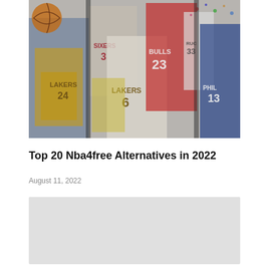[Figure (photo): Collage of famous NBA basketball players including players in Lakers, Bulls, 76ers, and other jerseys. Players shown include Kobe Bryant (#24 Lakers), LeBron James (#6 Lakers), Michael Jordan (#23 Bulls), and Wilt Chamberlain (#13 Philadelphia). Background has colorful confetti-like decorations.]
Top 20 Nba4free Alternatives in 2022
August 11, 2022
[Figure (other): Gray placeholder advertisement block]